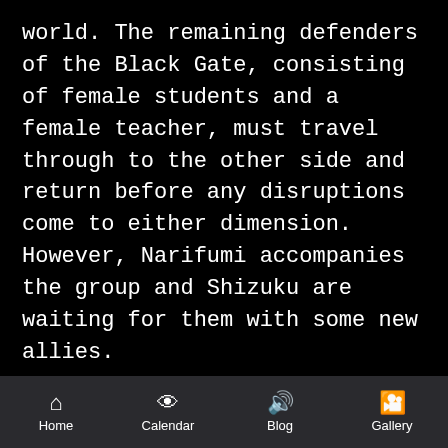world. The remaining defenders of the Black Gate, consisting of female students and a female teacher, must travel through to the other side and return before any disruptions come to either dimension. However, Narifumi accompanies the group and Shizuku are waiting for them with some new allies.
Alternate Names: □□□□□□□ □□□□□
Aired: Jul 25, 2004 to Dec 25, 2004
Home  Calendar  Blog  Gallery